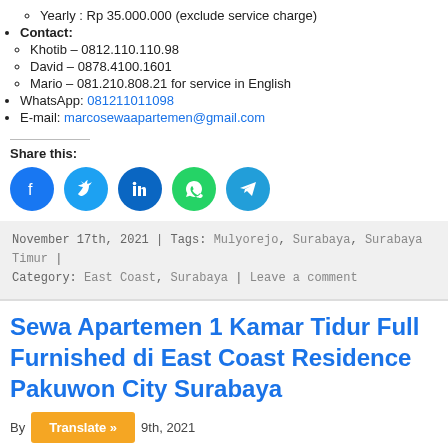Yearly : Rp 35.000.000 (exclude service charge)
Contact:
Khotib – 0812.110.110.98
David – 0878.4100.1601
Mario – 081.210.808.21 for service in English
WhatsApp: 081211011098
E-mail: marcosewaapartemen@gmail.com
Share this:
[Figure (infographic): Social media share icons: Facebook, Twitter, LinkedIn, WhatsApp, Telegram]
November 17th, 2021 | Tags: Mulyorejo, Surabaya, Surabaya Timur | Category: East Coast, Surabaya | Leave a comment
Sewa Apartemen 1 Kamar Tidur Full Furnished di East Coast Residence Pakuwon City Surabaya
By ... 9th, 2021